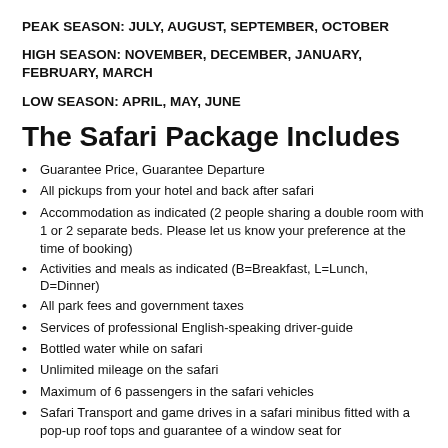PEAK SEASON: JULY, AUGUST, SEPTEMBER, OCTOBER
HIGH SEASON: NOVEMBER, DECEMBER, JANUARY, FEBRUARY, MARCH
LOW SEASON: APRIL, MAY, JUNE
The Safari Package Includes
Guarantee Price, Guarantee Departure
All pickups from your hotel and back after safari
Accommodation as indicated (2 people sharing a double room with 1 or 2 separate beds. Please let us know your preference at the time of booking)
Activities and meals as indicated (B=Breakfast, L=Lunch, D=Dinner)
All park fees and government taxes
Services of professional English-speaking driver-guide
Bottled water while on safari
Unlimited mileage on the safari
Maximum of 6 passengers in the safari vehicles
Safari Transport and game drives in a safari minibus fitted with a pop-up roof tops and guarantee of a window seat for